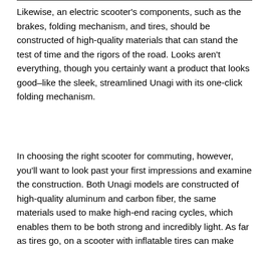Likewise, an electric scooter's components, such as the brakes, folding mechanism, and tires, should be constructed of high-quality materials that can stand the test of time and the rigors of the road. Looks aren't everything, though you certainly want a product that looks good–like the sleek, streamlined Unagi with its one-click folding mechanism.
In choosing the right scooter for commuting, however, you'll want to look past your first impressions and examine the construction. Both Unagi models are constructed of high-quality aluminum and carbon fiber, the same materials used to make high-end racing cycles, which enables them to be both strong and incredibly light. As far as tires go, on a scooter with inflatable tires can make